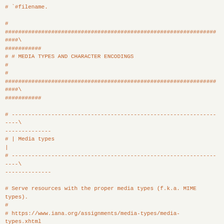# `#filename.
#
####################################################################
###########
# # MEDIA TYPES AND CHARACTER ENCODINGS
#
#
####################################################################
###########

# --------------------------------------------------------------------
-------------
# | Media types
|
# --------------------------------------------------------------------
-------------

# Serve resources with the proper media types (f.k.a. MIME types).
#
# https://www.iana.org/assignments/media-types/media-types.xhtml
#
https://httpd.apache.org/docs/current/mod/mod_mime.html#addtype